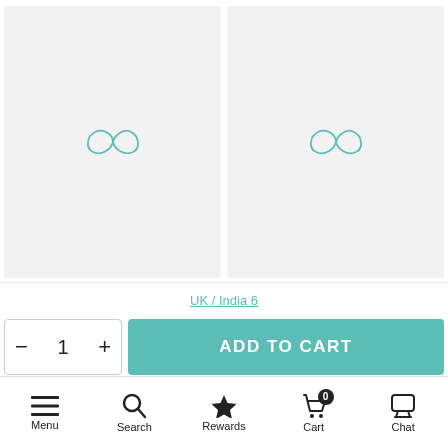[Figure (screenshot): Two product image panels side by side, each with a light gray background and a teal infinity symbol logo in the center]
UK / India 6
[Figure (other): Quantity selector with minus, 1, plus controls and ADD TO CART button]
Menu   Search   Rewards   Cart (0)   Chat